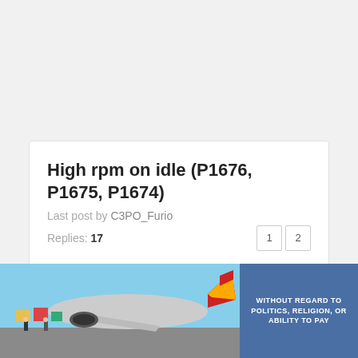High rpm on idle (P1676, P1675, P1674)
Last post by C3PO_Furio
Replies: 17
[Figure (photo): Advertisement banner showing a cargo airplane being loaded on a tarmac with a blue overlay panel on the right displaying text 'WITHOUT REGARD TO POLITICS, RELIGION, OR ABILITY TO PAY']